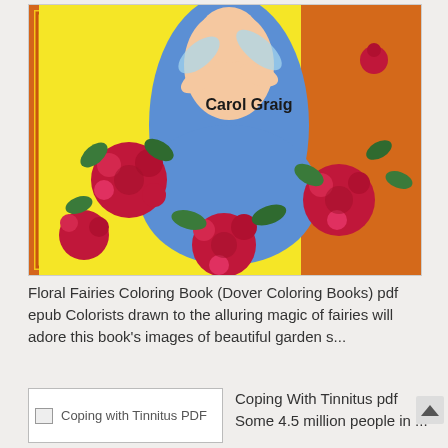[Figure (illustration): Book cover of 'Floral Fairies Coloring Book' by Carol Graig showing a fairy woman in a blue dress surrounded by red roses on a yellow background with decorative border]
Floral Fairies Coloring Book (Dover Coloring Books) pdf epub Colorists drawn to the alluring magic of fairies will adore this book's images of beautiful garden s...
[Figure (other): Broken image placeholder labeled 'Coping with Tinnitus PDF']
Coping With Tinnitus pdf Some 4.5 million people in ...